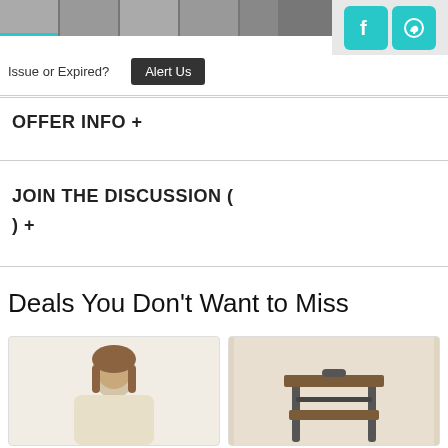[Figure (screenshot): Top strip with 5 product thumbnail images and social media icons (Facebook, WhatsApp) on the right]
Issue or Expired?  Alert Us
OFFER INFO +
JOIN THE DISCUSSION (
) +
Deals You Don't Want to Miss
[Figure (photo): Woman in beige v-neck top]
[Figure (photo): Industrial style two-tier side table/cart with metal frame and wood-look shelves]